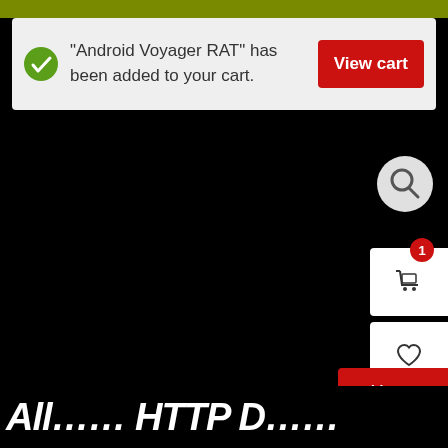[Figure (screenshot): E-commerce website notification banner showing 'Android Voyager RAT has been added to your cart.' with a green checkmark icon and a red 'View cart' button. Below is a black product image area with a search icon, cart widgets, and an 'Add to cart' button. At the bottom, partial white bold italic text begins.]